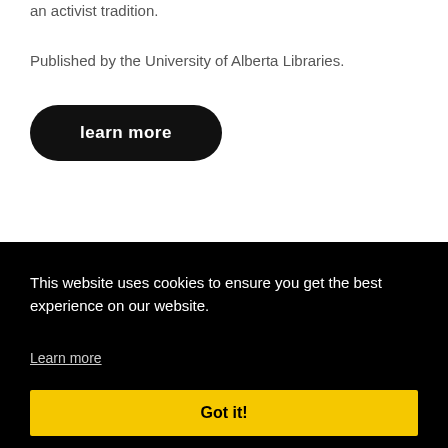an activist tradition.
Published by the University of Alberta Libraries.
learn more
This website uses cookies to ensure you get the best experience on our website.
Learn more
Got it!